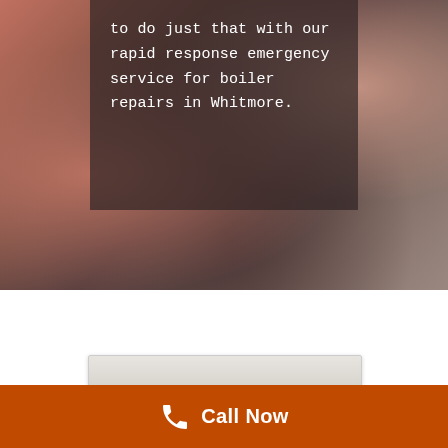[Figure (photo): Blurred warm-toned background photo, partially showing reddish-brown surfaces, with a dark semi-transparent overlay box containing white text about boiler repair services in Whitmore.]
to do just that with our rapid response emergency service for boiler repairs in Whitmore.
Call Now